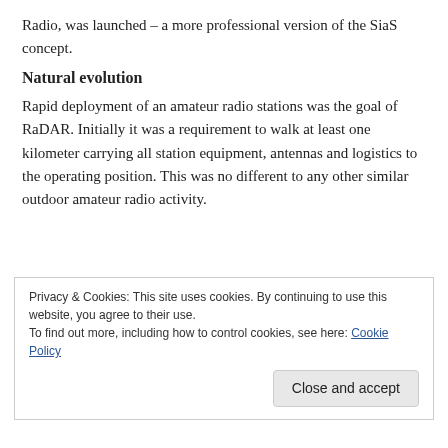Radio, was launched – a more professional version of the SiaS concept.
Natural evolution
Rapid deployment of an amateur radio stations was the goal of RaDAR. Initially it was a requirement to walk at least one kilometer carrying all station equipment, antennas and logistics to the operating position. This was no different to any other similar outdoor amateur radio activity.
Privacy & Cookies: This site uses cookies. By continuing to use this website, you agree to their use.
To find out more, including how to control cookies, see here: Cookie Policy
Close and accept